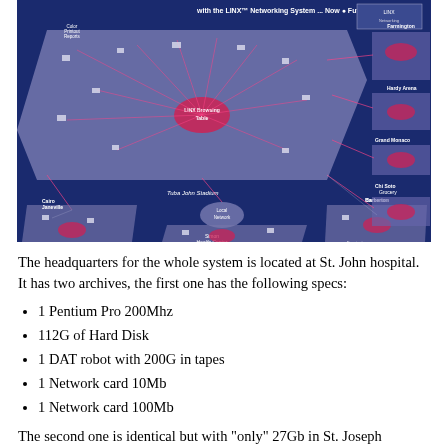[Figure (network-graph): Network diagram showing the LINX Networking System connecting St. John hospital headquarters with multiple remote sites including Cairo Janeville, Tuba John Stadium, Simon Health Center, Farmington, Hardy Arena, Grand Monaco, Chi Soto Grocery, and Barberton. The diagram shows interconnected nodes on blue background with labeled locations.]
The headquarters for the whole system is located at St. John hospital. It has two archives, the first one has the following specs:
1 Pentium Pro 200Mhz
112G of Hard Disk
1 DAT robot with 200G in tapes
1 Network card 10Mb
1 Network card 100Mb
The second one is identical but with "only" 27Gb in St. Joseph